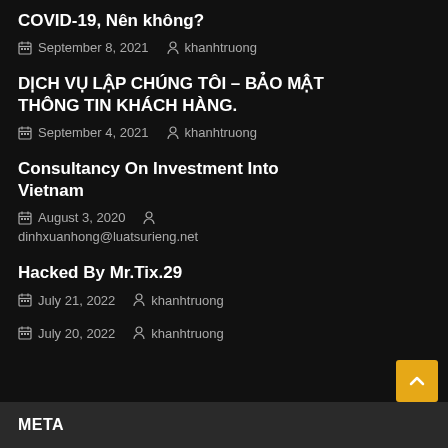COVID-19, Nên không?
September 8, 2021   khanhtruong
DỊCH VỤ LẬP CHÚNG TÔI – BẢO MẬT THÔNG TIN KHÁCH HÀNG.
September 4, 2021   khanhtruong
Consultancy On Investment Into Vietnam
August 3, 2020   dinhxuanhong@luatsurieng.net
Hacked By Mr.Tix.29
July 21, 2022   khanhtruong
July 20, 2022   khanhtruong
META